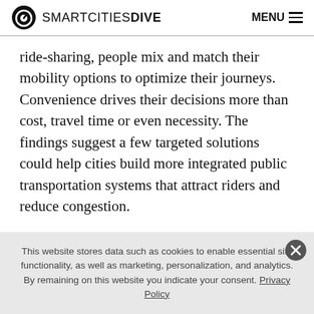SMARTCITIES DIVE  MENU
ride-sharing, people mix and match their mobility options to optimize their journeys. Convenience drives their decisions more than cost, travel time or even necessity. The findings suggest a few targeted solutions could help cities build more integrated public transportation systems that attract riders and reduce congestion.
Overall, analysts found attitudes toward public transportation are not as negative as some might think. A
This website stores data such as cookies to enable essential site functionality, as well as marketing, personalization, and analytics. By remaining on this website you indicate your consent. Privacy Policy